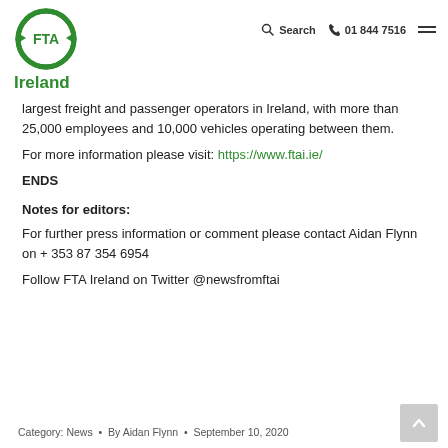FTA Ireland | Search | 01 844 7516
largest freight and passenger operators in Ireland, with more than 25,000 employees and 10,000 vehicles operating between them.
For more information please visit: https://www.ftai.ie/
ENDS
Notes for editors:
For further press information or comment please contact Aidan Flynn on + 353 87 354 6954
Follow FTA Ireland on Twitter @newsfromftai
Category: News  •  By Aidan Flynn  •  September 10, 2020